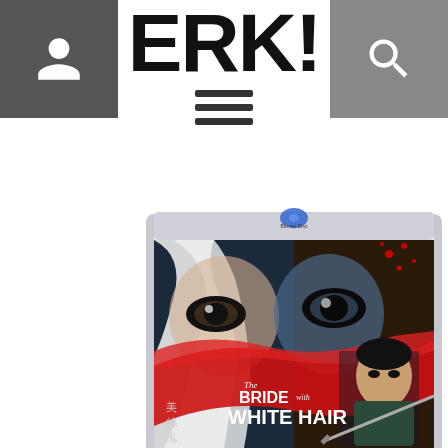ERK! website header with user icon, ERK! logo, and search icon
[Figure (photo): Blu-ray disc cover of 'The Bride with White Hair' showing a woman with white hair and blue-tinted eyes on the left, a male character on the right, red brush stroke design, and Chinese characters. Blu-ray disc logo at top.]